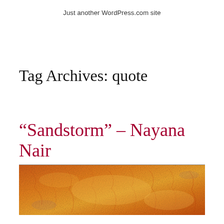Just another WordPress.com site
Tag Archives: quote
“Sandstorm” – Nayana Nair
[Figure (photo): Photograph of a sandstorm or desert landscape with warm orange and golden tones, textured surface with cracks visible.]